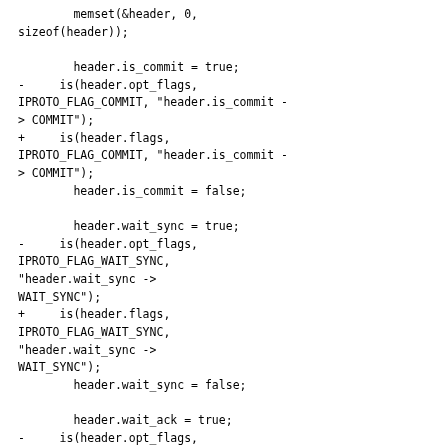memset(&header, 0, sizeof(header));

        header.is_commit = true;
-     is(header.opt_flags, IPROTO_FLAG_COMMIT, "header.is_commit -> COMMIT");
+     is(header.flags, IPROTO_FLAG_COMMIT, "header.is_commit -> COMMIT");
        header.is_commit = false;

        header.wait_sync = true;
-     is(header.opt_flags, IPROTO_FLAG_WAIT_SYNC, "header.wait_sync -> WAIT_SYNC");
+     is(header.flags, IPROTO_FLAG_WAIT_SYNC, "header.wait_sync -> WAIT_SYNC");
        header.wait_sync = false;

        header.wait_ack = true;
-     is(header.opt_flags, IPROTO_FLAG_WAIT_ACK, "header.wait_ack -> WAIT_ACK");
+     is(header.flags, IPROTO_FLAG_WAIT_ACK, "header.wait_ack